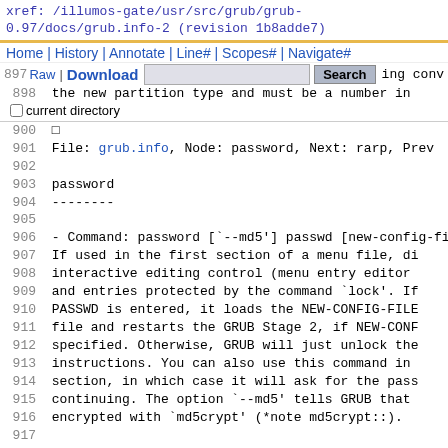xref: /illumos-gate/usr/src/grub/grub-0.97/docs/grub.info-2 (revision 1b8adde7)
Home | History | Annotate | Line# | Scopes# | Navigate#
897 Raw | Download  Search  [checkbox] current directory
900
901  File: grub.info,  Node: password,  Next: rarp,  Prev:
902
903  password
904  --------
905
906   - Command: password [`--md5'] passwd [new-config-fi
907       If used in the first section of a menu file, di
908       interactive editing control (menu entry editor
909       and entries protected by the command `lock'. If
910       PASSWD is entered, it loads the NEW-CONFIG-FILE
911       file and restarts the GRUB Stage 2, if NEW-CONF
912       specified. Otherwise, GRUB will just unlock the
913       instructions.  You can also use this command in
914       section, in which case it will ask for the pass
915       continuing.  The option `--md5' tells GRUB that
916       encrypted with `md5crypt' (*note md5crypt::).
917
918  □
919  File: grub.info,  Node: rarp,  Next: serial,  Prev:
920
921  rarp